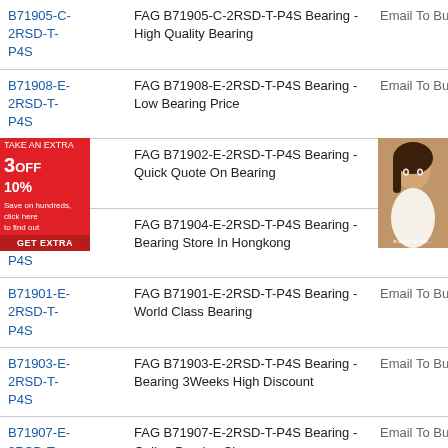|  | Description | Action |
| --- | --- | --- |
| B71905-C-2RSD-T-P4S | FAG B71905-C-2RSD-T-P4S Bearing - High Quality Bearing | Email To Buy |
| B71908-E-2RSD-T-P4S | FAG B71908-E-2RSD-T-P4S Bearing - Low Bearing Price | Email To Buy |
| B71902-E-2RSD-T-P4S | FAG B71902-E-2RSD-T-P4S Bearing - Quick Quote On Bearing | Email To Buy |
| B71904-E-2RSD-T-P4S | FAG B71904-E-2RSD-T-P4S Bearing - Bearing Store In Hongkong | Email To Buy |
| B71901-E-2RSD-T-P4S | FAG B71901-E-2RSD-T-P4S Bearing - World Class Bearing | Email To Buy |
| B71903-E-2RSD-T-P4S | FAG B71903-E-2RSD-T-P4S Bearing - Bearing 3Weeks High Discount | Email To Buy |
| B71907-E-2RSD-T-P4S | FAG B71907-E-2RSD-T-P4S Bearing - Online Bearing Shop | Email To Buy |
[Figure (infographic): Advertisement overlay showing 3OFF 10% discount badge in red and a woman's face photo on the right side.]